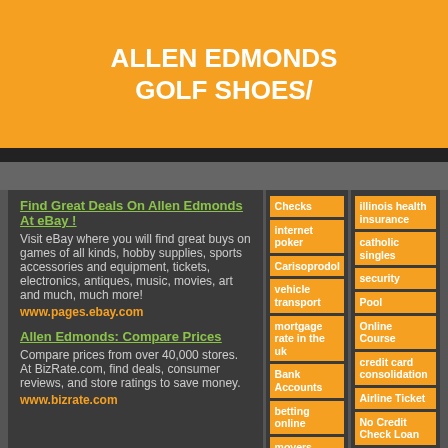ALLEN EDMONDS GOLF SHOES/
Find Great Deals On Allen Edmonds At eBay ! Visit eBay where you will find great buys on games of all kinds, hobby supplies, sports accessories and equipment, tickets, electronics, antiques, music, movies, art and much, much more! www.pages.ebay.com
Allen Edmonds: Compare Prices Compare prices from over 40,000 stores. At BizRate.com, find deals, consumer reviews, and store ratings to save money. www.bizrate.com
Checks
internet poker
Carisoprodol
vehicle transport
mortgage rate in the uk
Bank Accounts
betting online
movers
purchase phentermine
buy xenical
Payday Advance
Loan
Princess
illinois health insurance
catholic singles
security
Pool
Online Course
credit card consolidation
Airline Ticket
No Credit Check Loan
Royal Caribbean Cruise
Inkjet Refill
adoption
Purchase Viagra Online
web hosting